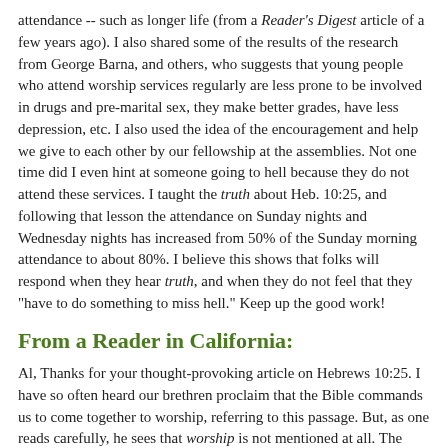attendance -- such as longer life (from a Reader's Digest article of a few years ago). I also shared some of the results of the research from George Barna, and others, who suggests that young people who attend worship services regularly are less prone to be involved in drugs and pre-marital sex, they make better grades, have less depression, etc. I also used the idea of the encouragement and help we give to each other by our fellowship at the assemblies. Not one time did I even hint at someone going to hell because they do not attend these services. I taught the truth about Heb. 10:25, and following that lesson the attendance on Sunday nights and Wednesday nights has increased from 50% of the Sunday morning attendance to about 80%. I believe this shows that folks will respond when they hear truth, and when they do not feel that they "have to do something to miss hell." Keep up the good work!
From a Reader in California:
Al, Thanks for your thought-provoking article on Hebrews 10:25. I have so often heard our brethren proclaim that the Bible commands us to come together to worship, referring to this passage. But, as one reads carefully, he sees that worship is not mentioned at all. The reason for our assembling is to encourage each other --- to "provoke to love and good works." In our congregation we are all in one of a number of small groups. Often our small groups meet precisely for the purpose of achieving the goals of Hebrews 10:25.